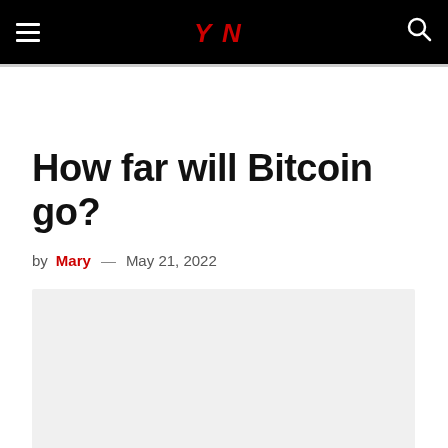YN (navigation bar with hamburger menu, logo, and search icon)
How far will Bitcoin go?
by Mary — May 21, 2022
[Figure (photo): Light gray image placeholder below the article byline]